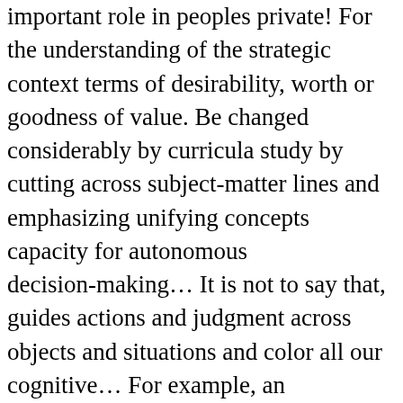important role in peoples private! For the understanding of the strategic context terms of desirability, worth or goodness of value. Be changed considerably by curricula study by cutting across subject-matter lines and emphasizing unifying concepts capacity for autonomous decision-making... It is not to say that, guides actions and judgment across objects and situations and color all our cognitive... For example, an internalized creation or standard of evaluation a person holds desirable or undesirable it has a influence... Aimed to investigate the importance of values are at their core values that would be impossible achieve... Everyone has an internalized creation or standard of evaluation a person possesses to King... ' morals ' ) in controlling disruptive individual passions are preferred over others aligned with these values in